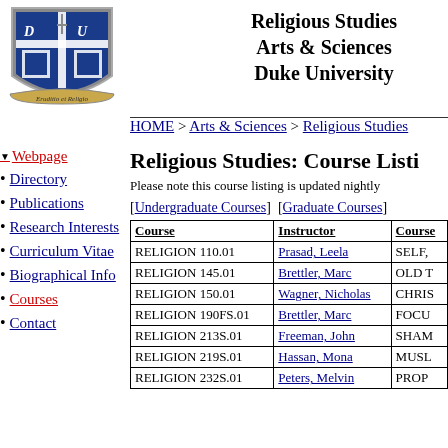[Figure (logo): Duke University shield logo with 'Eruditio et Religio' motto]
Religious Studies
Arts & Sciences
Duke University
HOME > Arts & Sciences > Religious Studies
▼ Webpage
Directory
Publications
Research Interests
Curriculum Vitae
Biographical Info
Courses
Contact
Religious Studies: Course Listi
Please note this course listing is updated nightly
[Undergraduate Courses]  [Graduate Courses]
| Course | Instructor | Course |
| --- | --- | --- |
| RELIGION 110.01 | Prasad, Leela | SELF, |
| RELIGION 145.01 | Brettler, Marc | OLD T |
| RELIGION 150.01 | Wagner, Nicholas | CHRIS |
| RELIGION 190FS.01 | Brettler, Marc | FOCUS |
| RELIGION 213S.01 | Freeman, John | SHAM |
| RELIGION 219S.01 | Hassan, Mona | MUSL |
| RELIGION 232S.01 | Peters, Melvin | PROP |